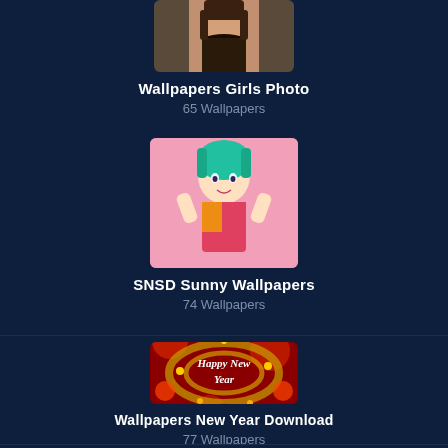[Figure (photo): Thumbnail photo of a girl for Wallpapers Girls Photo category]
Wallpapers Girls Photo
65 Wallpapers
[Figure (photo): Thumbnail photo of SNSD Sunny with teal hair on pink background]
SNSD Sunny Wallpapers
74 Wallpapers
[Figure (photo): Thumbnail of Happy New Year decorative image with gold and red ornaments]
Wallpapers New Year Download
77 Wallpapers